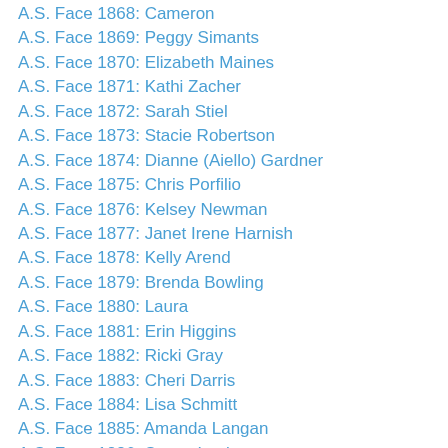A.S. Face 1868: Cameron
A.S. Face 1869: Peggy Simants
A.S. Face 1870: Elizabeth Maines
A.S. Face 1871: Kathi Zacher
A.S. Face 1872: Sarah Stiel
A.S. Face 1873: Stacie Robertson
A.S. Face 1874: Dianne (Aiello) Gardner
A.S. Face 1875: Chris Porfilio
A.S. Face 1876: Kelsey Newman
A.S. Face 1877: Janet Irene Harnish
A.S. Face 1878: Kelly Arend
A.S. Face 1879: Brenda Bowling
A.S. Face 1880: Laura
A.S. Face 1881: Erin Higgins
A.S. Face 1882: Ricki Gray
A.S. Face 1883: Cheri Darris
A.S. Face 1884: Lisa Schmitt
A.S. Face 1885: Amanda Langan
A.S. Face 1886: Susan Lanigan
A.S. Face 1887: Tammy Farrell